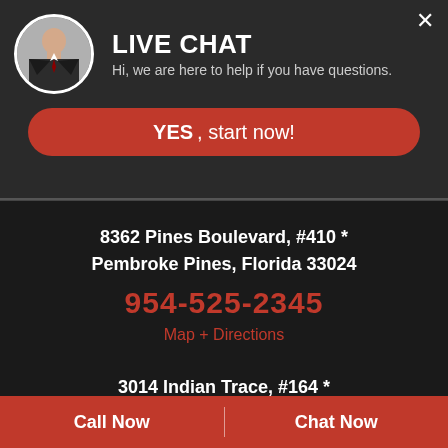[Figure (screenshot): Live chat popup widget with avatar photo of a man in suit, title LIVE CHAT, subtitle text, and YES start now button]
8362 Pines Boulevard, #410 *
Pembroke Pines, Florida 33024
954-525-2345
Map + Directions
3014 Indian Trace, #164 *
Weston, Florida 33326
Call Now | Chat Now